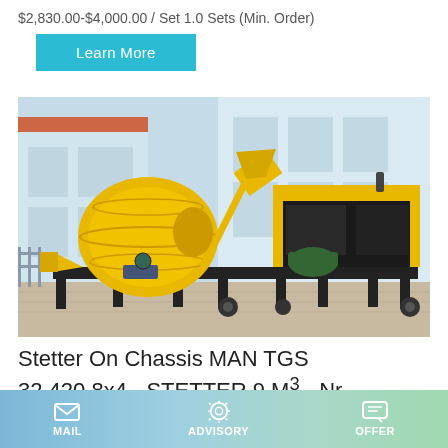$2,830.00-$4,000.00 / Set 1.0 Sets (Min. Order)
Learn More
[Figure (photo): Yellow concrete mixer pump machine with black metal frame, parked outdoors in front of a light-colored building. The machine has a large yellow drum mixer and a separate pump unit on the right side, both mounted on wheeled frames.]
Stetter On Chassis MAN TGS 32.420 8x4 - STETTER 9 M³ - Nr
MAIL   ADVISORY   OFFER